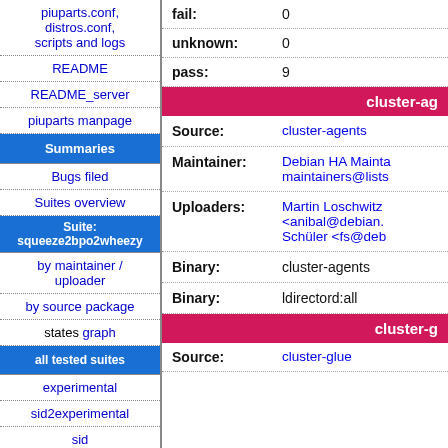piuparts.conf, distros.conf, scripts and logs
README
README_server
piuparts manpage
Summaries
Bugs filed
Suites overview
Suite: squeeze2bpo2wheezy
by maintainer / uploader
by source package
states graph
all tested suites
experimental
sid2experimental
sid
| Field | Value |
| --- | --- |
| fail: | 0 |
| unknown: | 0 |
| pass: | 9 |
cluster-ag
| Field | Value |
| --- | --- |
| Source: | cluster-agents |
| Maintainer: | Debian HA Maintainers maintainers@lists |
| Uploaders: | Martin Loschwitz <anibal@debian. Schüler <fs@deb |
| Binary: | cluster-agents |
| Binary: | ldirectord:all |
cluster-g
| Field | Value |
| --- | --- |
| Source: | cluster-glue |